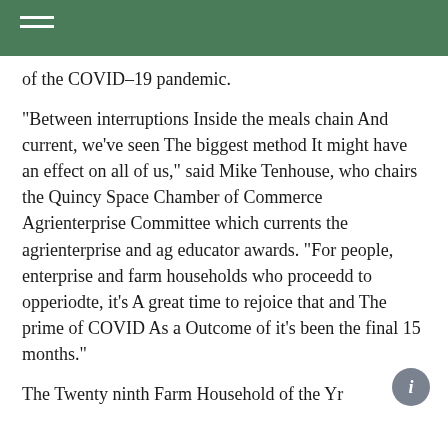of the COVID-19 pandemic.
“Between interruptions Inside the meals chain And current, we’ve seen The biggest method It might have an effect on all of us,” said Mike Tenhouse, who chairs the Quincy Space Chamber of Commerce Agrienterprise Committee which currents the agrienterprise and ag educator awards. “For people, enterprise and farm households who proceedd to opperiodte, it’s A great time to rejoice that and The prime of COVID As a Outcome of it’s been the final 15 months.”
The Twenty ninth Farm Household of the Yr